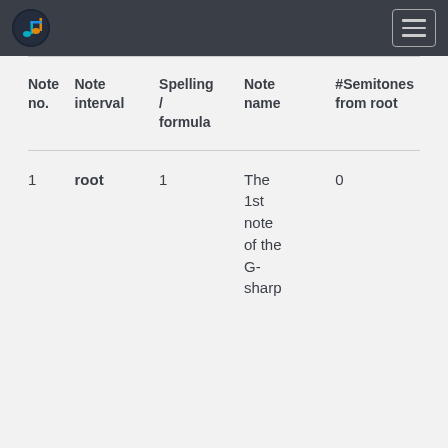Music theory page header with logo and navigation
| Note no. | Note interval | Spelling / formula | Note name | #Semitones from root |
| --- | --- | --- | --- | --- |
| 1 | root | 1 | The 1st note of the G-sharp | 0 |